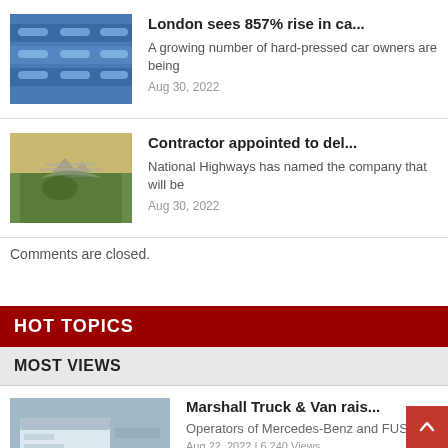[Figure (photo): Row of blue cars parked closely together, aerial/side view]
London sees 857% rise in ca...
A growing number of hard-pressed car owners are being
Aug 30, 2022
[Figure (photo): Aerial view of a motorway interchange surrounded by green fields]
Contractor appointed to del...
National Highways has named the company that will be
Aug 30, 2022
Comments are closed.
HOT TOPICS
MOST VIEWS
[Figure (photo): Exterior of a Marshall Truck & Van dealership building]
Marshall Truck & Van rais...
Operators of Mercedes-Benz and FUSO
Aug 22, 2022  |  6,240 Views